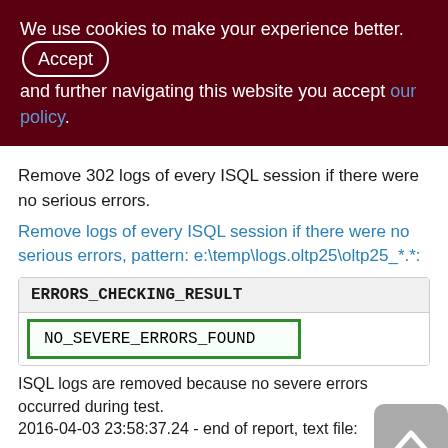We use cookies to make your experience better. By accepting and further navigating this website you accept our policy.
Remove 302 logs of every ISQL session if there were no serious errors.
Remove logs of every ISQL session if there were no serious errors, pattern: e:\temp\logs.oltp25\oltp25_*.*:
| ERRORS_CHECKING_RESULT |
| --- |
| NO_SEVERE_ERRORS_FOUND |
ISQL logs are removed because no severe errors occurred during test.
2016-04-03 23:58:37.24 - end of report, text file: